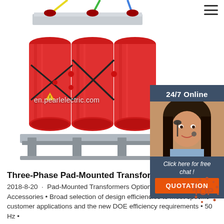[Figure (photo): Three-phase dry-type transformer with red cylindrical coils and gray metal base frame, product photo from en.pearlelectric.com]
[Figure (photo): Customer service representative sidebar panel with '24/7 Online' header, woman with headset, 'Click here for free chat!' text and orange QUOTATION button]
Three-Phase Pad-Mounted Transformers - GE Grid
2018-8-20 · Pad-Mounted Transformers Optional Features & Accessories • Broad selection of design efficiencies to meet specific customer applications and the new DOE efficiency requirements • 50 Hz •